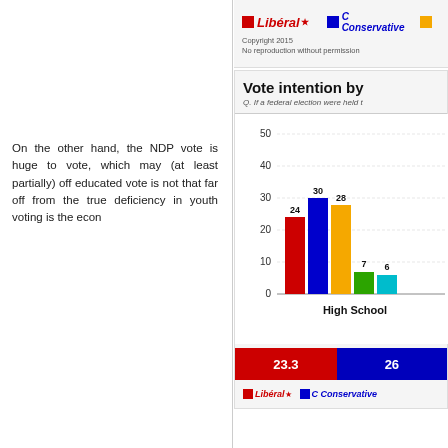[Figure (infographic): Legend bar showing Liberal (red), Conservative (blue/logo), and partial third party. Copyright 2015 notice shown.]
On the other hand, the NDP vote is huge to vote, which may (at least partially) off educated vote is not that far off from the true deficiency in youth voting is the econ
[Figure (grouped-bar-chart): Vote intention by]
[Figure (infographic): Bottom summary bars showing 23.3 (red/Liberal) and 26 (blue/Conservative) with party logos below]